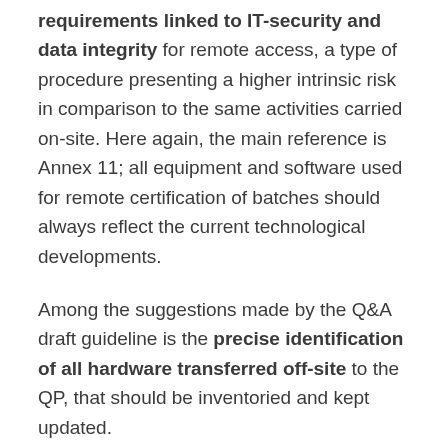requirements linked to IT-security and data integrity for remote access, a type of procedure presenting a higher intrinsic risk in comparison to the same activities carried on-site. Here again, the main reference is Annex 11; all equipment and software used for remote certification of batches should always reflect the current technological developments.
Among the suggestions made by the Q&A draft guideline is the precise identification of all hardware transferred off-site to the QP, that should be inventoried and kept updated.